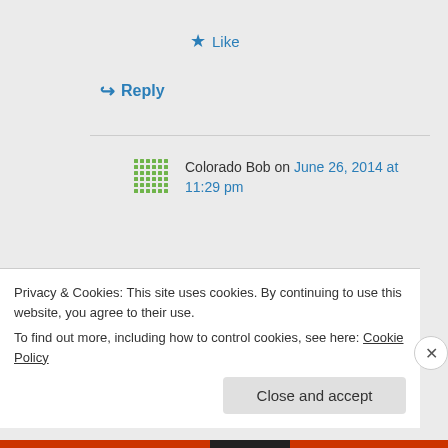★ Like
↪ Reply
Colorado Bob on June 26, 2014 at 11:29 pm
Terra/MODIS
2014/175
06/24/2014
19:35 UTC
Privacy & Cookies: This site uses cookies. By continuing to use this website, you agree to their use.
To find out more, including how to control cookies, see here: Cookie Policy
Close and accept